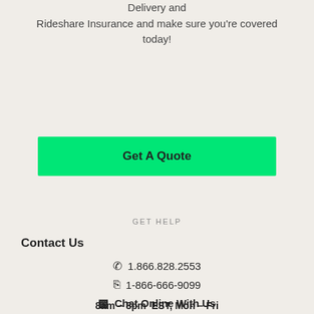Delivery and Rideshare Insurance and make sure you're covered today!
[Figure (other): Green 'Get A Quote' button]
GET HELP
Contact Us
1.866.828.2553
1-866-666-9099
Chat Online With Us
8am – 8pm  EST, Mon – Fri